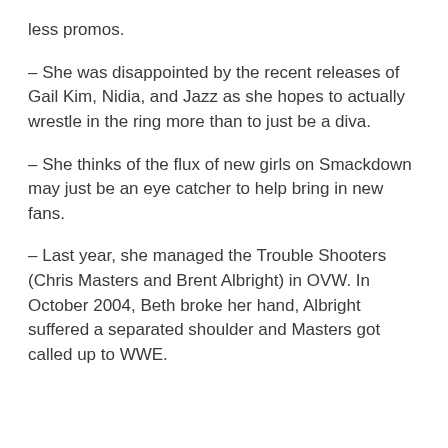less promos.
– She was disappointed by the recent releases of Gail Kim, Nidia, and Jazz as she hopes to actually wrestle in the ring more than to just be a diva.
– She thinks of the flux of new girls on Smackdown may just be an eye catcher to help bring in new fans.
– Last year, she managed the Trouble Shooters (Chris Masters and Brent Albright) in OVW. In October 2004, Beth broke her hand, Albright suffered a separated shoulder and Masters got called up to WWE.